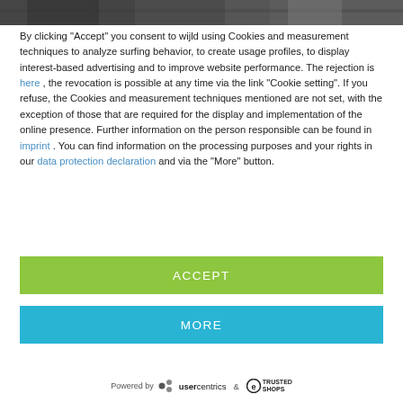[Figure (photo): Partial photo visible at top of page, dark tones]
By clicking "Accept" you consent to wijld using Cookies and measurement techniques to analyze surfing behavior, to create usage profiles, to display interest-based advertising and to improve website performance. The rejection is here , the revocation is possible at any time via the link "Cookie setting". If you refuse, the Cookies and measurement techniques mentioned are not set, with the exception of those that are required for the display and implementation of the online presence. Further information on the person responsible can be found in imprint . You can find information on the processing purposes and your rights in our data protection declaration and via the "More" button.
[Figure (other): Green ACCEPT button]
[Figure (other): Cyan MORE button]
Powered by usercentrics & TRUSTED SHOPS